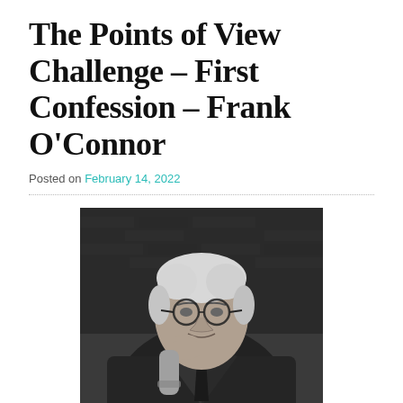The Points of View Challenge – First Confession – Frank O’Connor
Posted on February 14, 2022
[Figure (photo): Black and white photograph of Frank O’Connor, an older man with white hair and round glasses, resting his chin on his hand, wearing a tweed jacket and tie, seated with a brick wall in the background.]